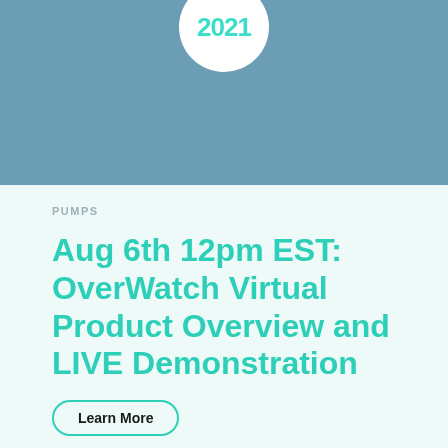[Figure (illustration): Blue-teal header banner with a white circular badge containing the year '2021' in teal text]
PUMPS
Aug 6th 12pm EST: OverWatch Virtual Product Overview and LIVE Demonstration
Learn More